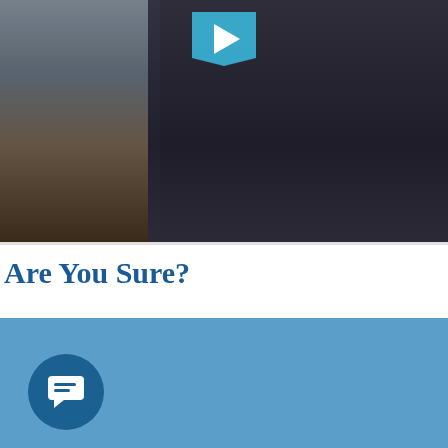[Figure (photo): Video thumbnail showing a person in dark clothing sitting at a desk with a water cooler and globe visible on the left, with a teal play button triangle at the top center.]
Are You Sure?
Comedy is hard. So I decided to write and shoot a sketch comedy in three days.
How'd I do?
[Figure (other): Blue footer section with a dark blue circular chat/comment icon button on the left side.]